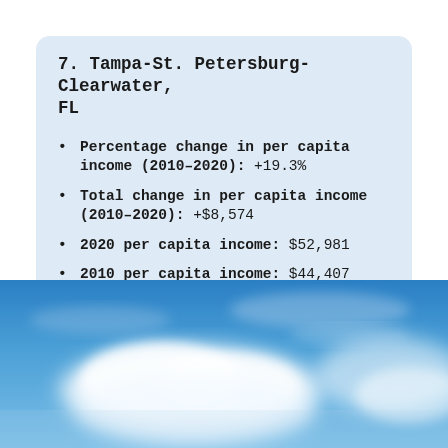7. Tampa-St. Petersburg-Clearwater, FL
Percentage change in per capita income (2010–2020): +19.3%
Total change in per capita income (2010–2020): +$8,574
2020 per capita income: $52,981
2010 per capita income: $44,407
[Figure (photo): Sky with blue background and white clouds]